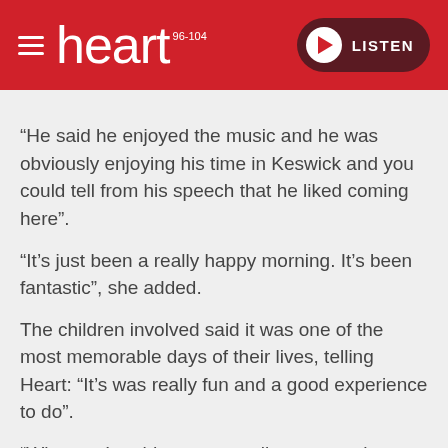heart 96-104 | LISTEN
“He said he enjoyed the music and he was obviously enjoying his time in Keswick and you could tell from his speech that he liked coming here”.
“It’s just been a really happy morning. It’s been fantastic”, she added.
The children involved said it was one of the most memorable days of their lives, telling Heart: “It’s was really fun and a good experience to do”.
“When we’re older we can tell everyone that we met Prince Charles – and it was good to miss school”, another youngster laughed.
You can see photos of Prince Charles’ visit on the Heart